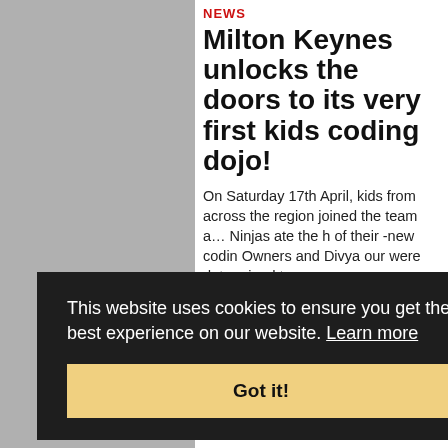[Figure (photo): Partial photo visible on left side of page, showing people outdoors, clipped by page edge]
NEWS
Milton Keynes unlocks the doors to its very first kids coding dojo!
On Saturday 17th April, kids from across the region joined the team at Ninjas to celebrate the launch of their brand-new coding dojo. Owners and Divya our were determined to
This website uses cookies to ensure you get the best experience on our website. Learn more
Got it!